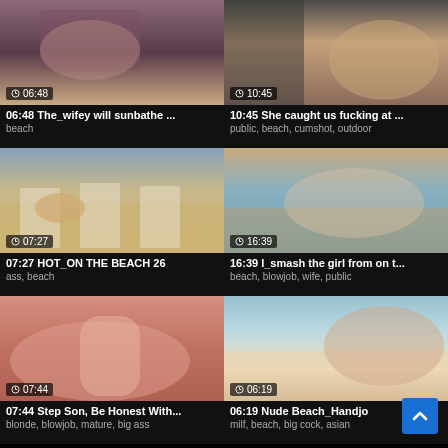[Figure (screenshot): Video thumbnail grid showing adult video site with 6 video thumbnails arranged in 2 columns and 3 rows]
06:48 The_wifey will sunbathe ...
beach
10:45 She caught us fucking at ...
public, beach, cumshot, outdoor
07:27 HOT_ON THE BEACH 26
ass, beach
16:39 I_smash the girl from on t...
beach, blowjob, wife, public
07:44 Step Son, Be Honest With...
blonde, blowjob, mature, big ass
06:19 Nude Beach_Handjo
milf, beach, big cock, asian